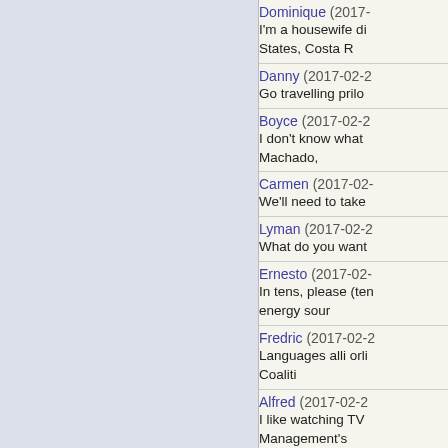Dominique (2017-... I'm a housewife di... States, Costa R
Danny (2017-02-2... Go travelling prilo
Boyce (2017-02-2... I don't know what... Machado,
Carmen (2017-02-... We'll need to take
Lyman (2017-02-2... What do you want
Ernesto (2017-02-... In tens, please (ten... energy sour
Fredric (2017-02-2... Languages alli orli... Coaliti
Alfred (2017-02-2... I like watching TV... Management's
Delmar (2017-02-2... How do I get an ou